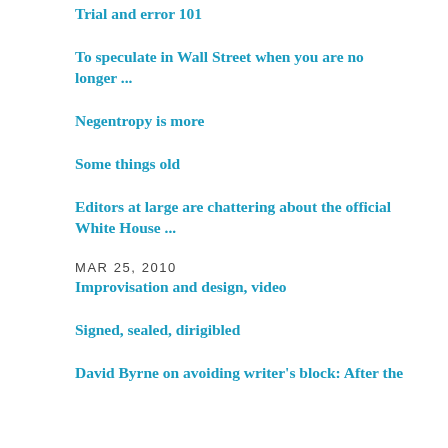Trial and error 101
To speculate in Wall Street when you are no longer ...
Negentropy is more
Some things old
Editors at large are chattering about the official White House ...
MAR 25, 2010
Improvisation and design, video
Signed, sealed, dirigibled
David Byrne on avoiding writer's block: After the